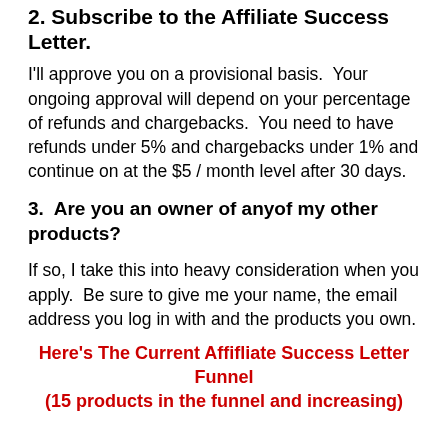2.  Subscribe to the Affiliate Success Letter.
I'll approve you on a provisional basis.  Your ongoing approval will depend on your percentage of refunds and chargebacks.  You need to have refunds under 5% and chargebacks under 1% and continue on at the $5 / month level after 30 days.
3.  Are you an owner of anyof my other products?
If so, I take this into heavy consideration when you apply.  Be sure to give me your name, the email address you log in with and the products you own.
Here's The Current Affifliate Success Letter Funnel
(15 products in the funnel and increasing)